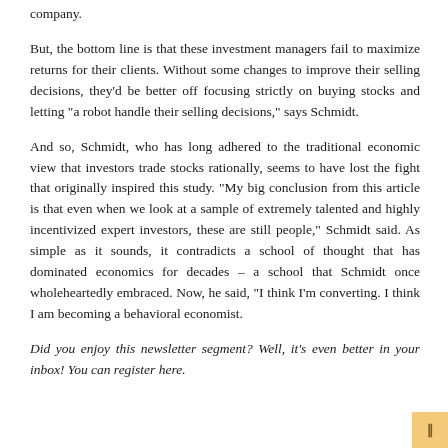company.
But, the bottom line is that these investment managers fail to maximize returns for their clients. Without some changes to improve their selling decisions, they’d be better off focusing strictly on buying stocks and letting “a robot handle their selling decisions,” says Schmidt.
And so, Schmidt, who has long adhered to the traditional economic view that investors trade stocks rationally, seems to have lost the fight that originally inspired this study. “My big conclusion from this article is that even when we look at a sample of extremely talented and highly incentivized expert investors, these are still people,” Schmidt said. As simple as it sounds, it contradicts a school of thought that has dominated economics for decades – a school that Schmidt once wholeheartedly embraced. Now, he said, “I think I’m converting. I think I am becoming a behavioral economist.
Did you enjoy this newsletter segment? Well, it’s even better in your inbox! You can register here.